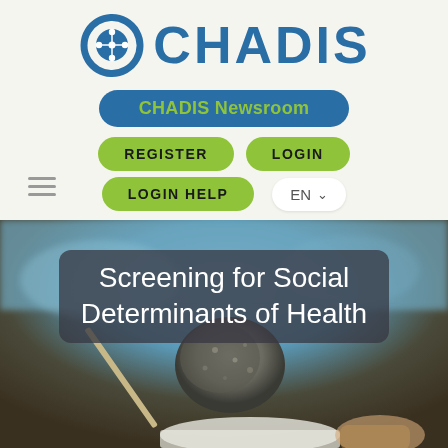[Figure (logo): CHADIS logo with circular icon and blue text]
CHADIS Newsroom
REGISTER
LOGIN
LOGIN HELP
EN
[Figure (photo): Close-up photo of a hand holding a snail with chopsticks over a white cup, blurred blue background. Overlaid text reads: Screening for Social Determinants of Health]
Screening for Social Determinants of Health